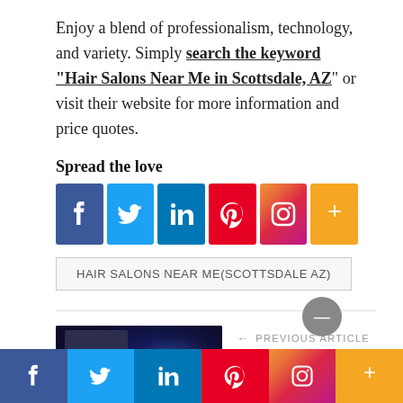Enjoy a blend of professionalism, technology, and variety. Simply search the keyword “Hair Salons Near Me in Scottsdale, AZ” or visit their website for more information and price quotes.
Spread the love
[Figure (infographic): Social media share icons: Facebook (blue), Twitter (light blue), LinkedIn (blue), Pinterest (red), Instagram (gradient), and More/Plus (orange)]
HAIR SALONS NEAR ME(SCOTTSDALE AZ)
[Figure (photo): Thumbnail image of a person in a suit with digital technology icons glowing around them, dark blue background]
PREVIOUS ARTICLE
3 Reasons Why You Should Consider Using Fitness Marketing in Cali...
[Figure (infographic): Bottom sticky social sharing bar with Facebook, Twitter, LinkedIn, Pinterest, Instagram, and More icons]